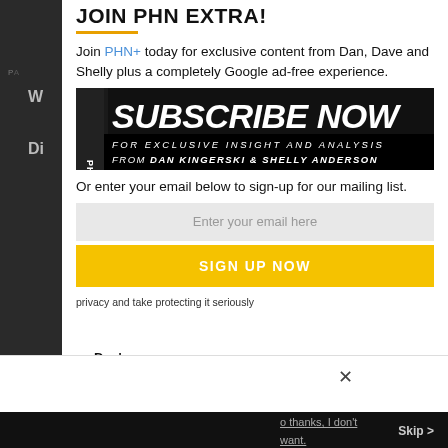JOIN PHN EXTRA!
Join PHN+ today for exclusive content from Dan, Dave and Shelly plus a completely Google ad-free experience.
[Figure (infographic): PHN+ Subscribe Now banner — black background with bold white italic text 'SUBSCRIBE NOW' and subtitle 'FOR EXCLUSIVE INSIGHT AND ANALYSIS FROM DAN KINGERSKI & SHELLY ANDERSON']
Or enter your email below to sign-up for our mailing list.
Enter your email here
SIGN UP NOW
privacy and take protecting it seriously
Dan's Daily: Sources...
o thanks, I don't want.
Skip >